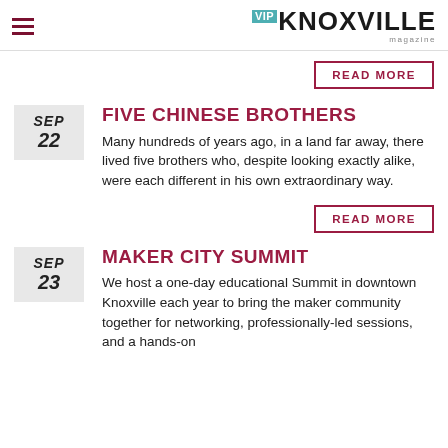VIP KNOXVILLE magazine
READ MORE
FIVE CHINESE BROTHERS
Many hundreds of years ago, in a land far away, there lived five brothers who, despite looking exactly alike, were each different in his own extraordinary way.
READ MORE
MAKER CITY SUMMIT
We host a one-day educational Summit in downtown Knoxville each year to bring the maker community together for networking, professionally-led sessions, and a hands-on